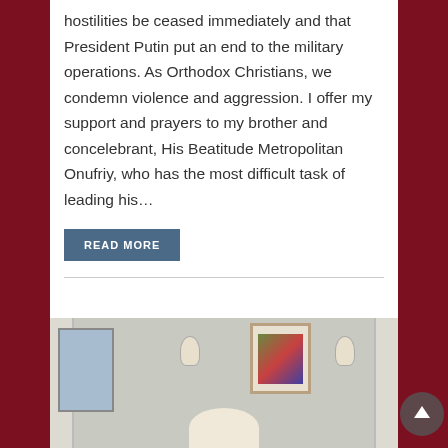hostilities be ceased immediately and that President Putin put an end to the military operations. As Orthodox Christians, we condemn violence and aggression. I offer my support and prayers to my brother and concelebrant, His Beatitude Metropolitan Onufriy, who has the most difficult task of leading his...
READ MORE
[Figure (photo): Interior room photo showing a wall with a framed artwork/icon, two wall sconces, door frames on sides, and partial view of a person at the bottom]